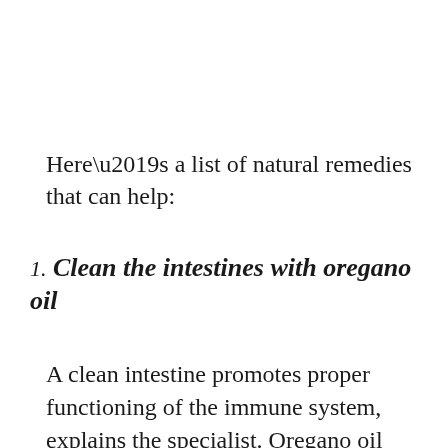Here’s a list of natural remedies that can help:
1. Clean the intestines with oregano oil
A clean intestine promotes proper functioning of the immune system, explains the specialist. Oregano oil helps remove harmful bacteria in the